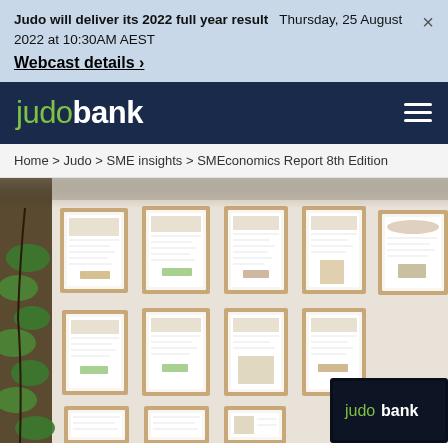Judo will deliver its 2022 full year result   Thursday, 25 August 2022 at 10:30AM AEST
Webcast details >
[Figure (logo): Judo Bank logo in white and green on dark navy background with hamburger menu icon]
Home > Judo > SME insights > SMEconomics Report 8th Edition
[Figure (photo): Interior wall of Judo Bank office with framed certificates/awards displayed in a grid arrangement, with green leafy plant on the left and a dark TV screen showing Judo Bank logo in the lower right corner]